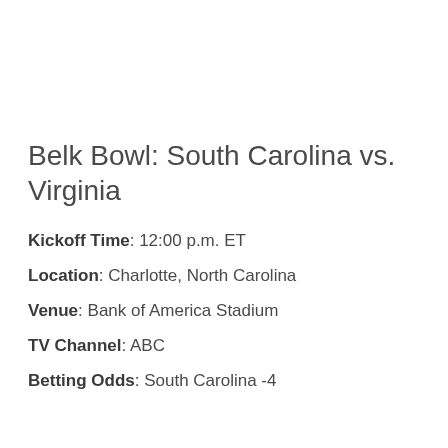Belk Bowl: South Carolina vs. Virginia
Kickoff Time: 12:00 p.m. ET
Location: Charlotte, North Carolina
Venue: Bank of America Stadium
TV Channel: ABC
Betting Odds: South Carolina -4